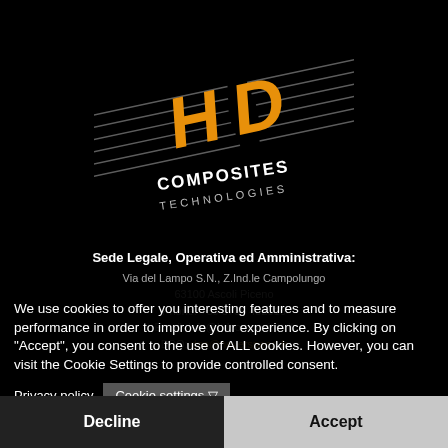[Figure (logo): HD Composites Technologies logo — orange and white 'HD' lettering on a diamond shape with speed lines, text 'COMPOSITES TECHNOLOGIES' below, on black background]
Sede Legale, Operativa ed Amministrativa:
Via del Lampo S.N., Z.Ind.le Campolungo
63100 Ascoli Piceno
Phone: +39 0736 402016
Email: info@hdcomposites.it
DPO: dpo@neverspeed.fr
We use cookies to offer you interesting features and to measure performance in order to improve your experience. By clicking on "Accept", you consent to the use of ALL cookies. However, you can visit the Cookie Settings to provide controlled consent.
Privacy policy
Cookie settings
Decline
Accept